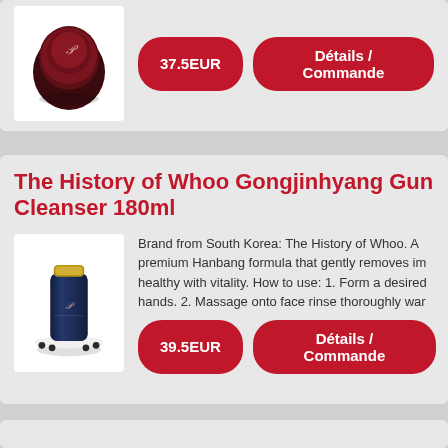[Figure (photo): Dark red/maroon round compact cosmetic product from The History of Whoo]
37.5EUR
Détails / Commande
The History of Whoo Gongjinhyang Gum Cleanser 180ml
[Figure (photo): Dark navy blue tube cleanser with gold cap on white display stand, The History of Whoo brand]
Brand from South Korea: The History of Whoo. A premium Hanbang formula that gently removes im healthy with vitality. How to use: 1. Form a desired hands. 2. Massage onto face rinse thoroughly war
39.5EUR
Détails / Commande